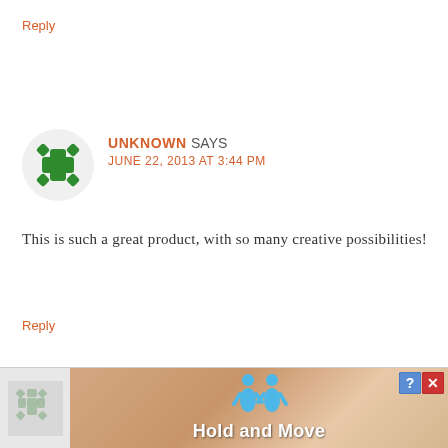Reply
UNKNOWN SAYS
JUNE 22, 2013 AT 3:44 PM
This is such a great product, with so many creative possibilities!
Reply
[Figure (screenshot): Advertisement banner at bottom showing 'Hold and Move' with decorative figures and wood-texture background, with help and close buttons in top right corner]